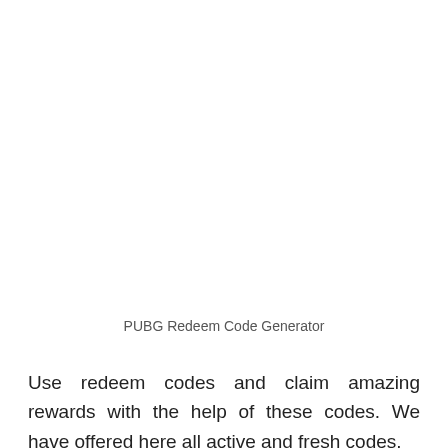PUBG Redeem Code Generator
Use redeem codes and claim amazing rewards with the help of these codes. We have offered here all active and fresh codes.